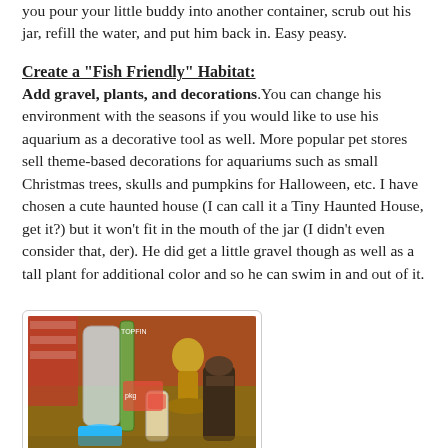you pour your little buddy into another container, scrub out his jar, refill the water, and put him back in. Easy peasy.
Create a "Fish Friendly" Habitat:
Add gravel, plants, and decorations. You can change his environment with the seasons if you would like to use his aquarium as a decorative tool as well. More popular pet stores sell theme-based decorations for aquariums such as small Christmas trees, skulls and pumpkins for Halloween, etc. I have chosen a cute haunted house (I can call it a Tiny Haunted House, get it?) but it won't fit in the mouth of the jar (I didn't even consider that, der). He did get a little gravel though as well as a tall plant for additional color and so he can swim in and out of it.
[Figure (photo): Photograph of aquarium supplies on a table including jars, a plant, gravel, and decorations]